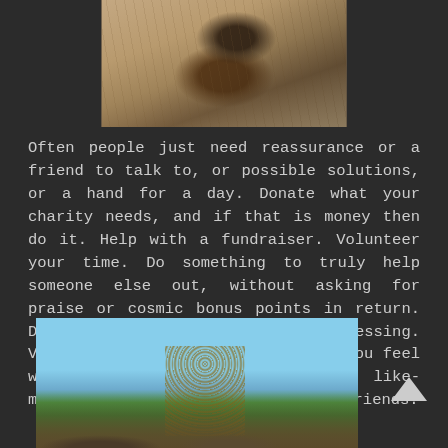[Figure (photo): Close-up photo of dry soil and dirt ground, possibly showing a trench or hole, with dry grass/straw visible. Dark background surrounds.]
Often people just need reassurance or a friend to talk to, or possible solutions, or a hand for a day. Donate what your charity needs, and if that is money then do it. Help with a fundraiser. Volunteer your time. Do something to truly help someone else out, without asking for praise or cosmic bonus points in return. Don't be a pain; be a blessing. Volunteering and helping out make you feel worthwhile and surrounds you with like-minded people who can become your friends.
[Figure (photo): Outdoor photo showing people gathered under a bare tree against a blue sky, with green hills in the background.]